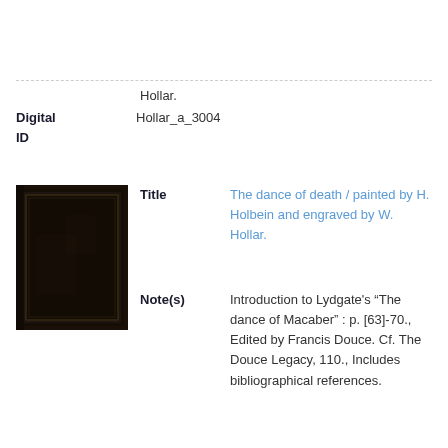Hollar.
Digital ID: Hollar_a_3004
[Figure (photo): Dark brown/black leather-bound book cover, portrait orientation, with decorative border lines near edges]
Title: The dance of death / painted by H. Holbein and engraved by W. Hollar.
Note(s): Introduction to Lydgate's "The dance of Macaber" : p. [63]-70., Edited by Francis Douce. Cf. The Douce Legacy, 110., Includes bibliographical references.
Digital ID: Hollar_a_3005